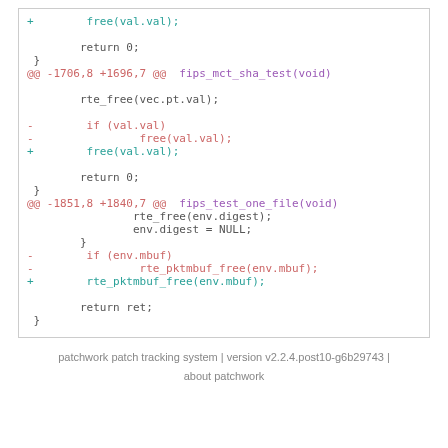[Figure (screenshot): Diff/patch code block showing changes to C source code with added (+) and removed (-) lines, hunk headers, and function context]
patchwork patch tracking system | version v2.2.4.post10-g6b29743 | about patchwork